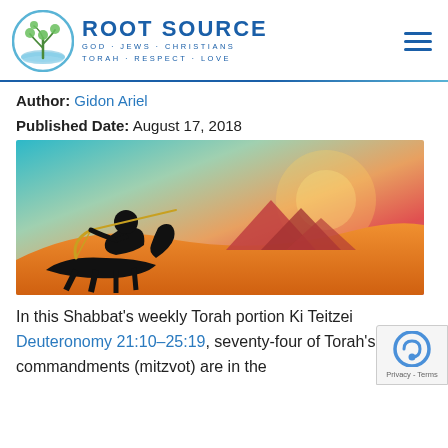[Figure (logo): Root Source logo with circular emblem showing a tree/plant, text ROOT SOURCE in large blue letters, subtitle GOD · JEWS · CHRISTIANS / TORAH · RESPECT · LOVE in smaller blue letters]
Author: Gidon Ariel
Published Date: August 17, 2018
[Figure (illustration): Colorful artistic illustration of a silhouetted archer on horseback drawing a bow, with Egyptian pyramids in the background and a vibrant gradient sky of orange, red, purple, and teal]
In this Shabbat's weekly Torah portion Ki Teitzei Deuteronomy 21:10–25:19, seventy-four of Torah's 613 commandments (mitzvot) are in the